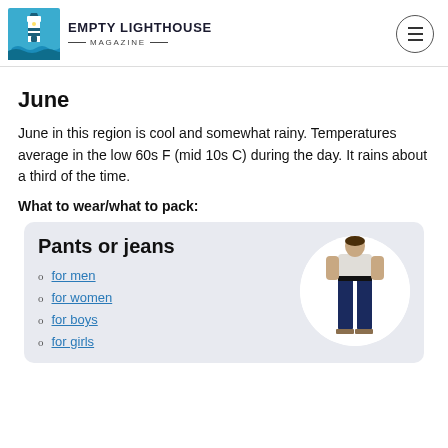EMPTY LIGHTHOUSE MAGAZINE
June
June in this region is cool and somewhat rainy. Temperatures average in the low 60s F (mid 10s C) during the day. It rains about a third of the time.
What to wear/what to pack:
Pants or jeans
for men
for women
for boys
for girls
[Figure (photo): Woman wearing dark jeans and a white top, shown from waist down]